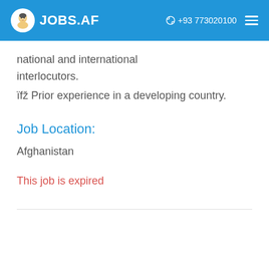JOBS.AF  +93 773020100
national and international interlocutors.
ïfž Prior experience in a developing country.
Job Location:
Afghanistan
This job is expired